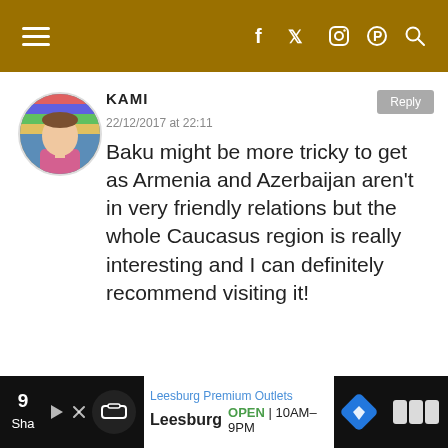Navigation and social icons header bar
[Figure (photo): Circular avatar photo of a woman with sunglasses on her head, wearing a pink top, outdoors with colorful striped background]
KAMI
22/12/2017 at 22:11
Baku might be more tricky to get as Armenia and Azerbaijan aren't in very friendly relations but the whole Caucasus region is really interesting and I can definitely recommend visiting it!
[Figure (screenshot): Advertisement banner for Leesburg Premium Outlets showing store name, OPEN 10AM-9PM, navigation icons on dark background]